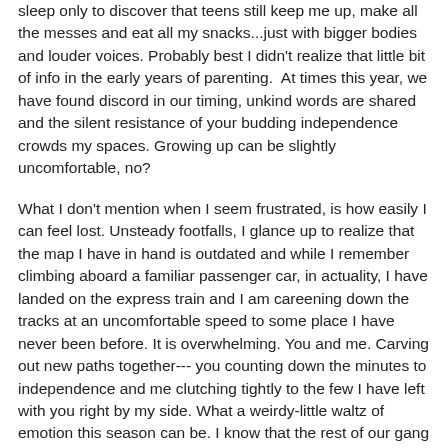sleep only to discover that teens still keep me up, make all the messes and eat all my snacks...just with bigger bodies and louder voices. Probably best I didn't realize that little bit of info in the early years of parenting.  At times this year, we have found discord in our timing, unkind words are shared and the silent resistance of your budding independence crowds my spaces. Growing up can be slightly uncomfortable, no?
What I don't mention when I seem frustrated, is how easily I can feel lost. Unsteady footfalls, I glance up to realize that the map I have in hand is outdated and while I remember climbing aboard a familiar passenger car, in actuality, I have landed on the express train and I am careening down the tracks at an uncomfortable speed to some place I have never been before. It is overwhelming. You and me. Carving out new paths together--- you counting down the minutes to independence and me clutching tightly to the few I have left with you right by my side. What a weirdy-little waltz of emotion this season can be. I know that the rest of our gang will have it easier down the line and each day, I become increasingly thankful for your patience and grace. We will figure it out together, little by little, one day at a time.